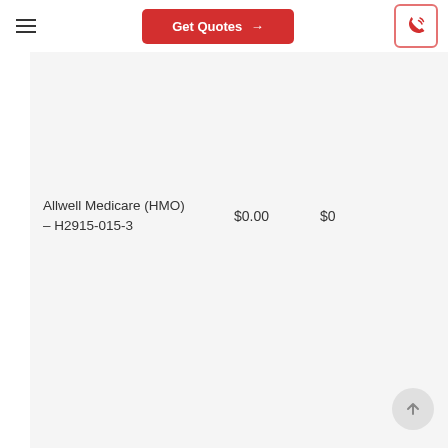Get Quotes →
| Plan | Monthly Premium | Drug Cost |
| --- | --- | --- |
| Allwell Medicare (HMO) – H2915-015-3 | $0.00 | $0 |